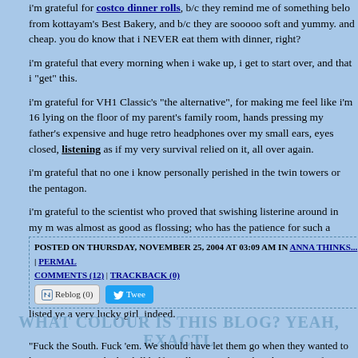i'm grateful for costco dinner rolls, b/c they remind me of something below from kottayam's Best Bakery, and b/c they are sooooo soft and yummy. and cheap. you do know that i NEVER eat them with dinner, right?
i'm grateful that every morning when i wake up, i get to start over, and that i "get" this.
i'm grateful for VH1 Classic's "the alternative", for making me feel like i'm 16, lying on the floor of my parent's family room, hands pressing my father's expensive and huge retro headphones over my small ears, eyes closed, listening as if my very survival relied on it, all over again.
i'm grateful that no one i know personally perished in the twin towers or the pentagon.
i'm grateful to the scientist who proved that swishing listerine around in my mouth was almost as good as flossing; who has the patience for such a gross and time-sucking ritual? not me, anymore. ha!
i'm grateful that you are reading this right now, and that you'll let me go to bed and add the all-important first part tomorrow. what you've kindly read through is just the warm-up. the greatest blessings i know haven't even been listed yet. i'm a very lucky girl, indeed.
POSTED ON THURSDAY, NOVEMBER 25, 2004 AT 03:09 AM IN ANNA THINKS... | PERMALINK | COMMENTS (12) | TRACKBACK (0)
WHAT COLOUR IS THIS BLOG? YEAH, EXACTLY.
"Fuck the South. Fuck 'em. We should have let them go when they wanted to leave. But no, we had to kill half a million people so they'd stay part of our special Union. Fighting for the right to keep